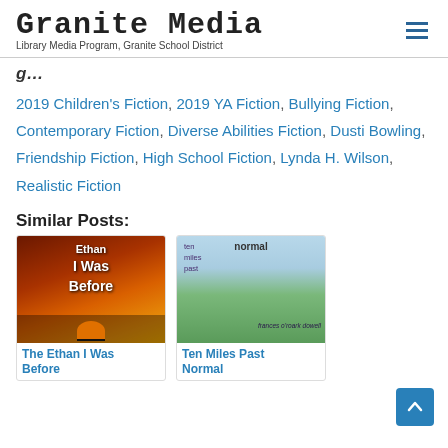Granite Media — Library Media Program, Granite School District
g…
2019 Children's Fiction, 2019 YA Fiction, Bullying Fiction, Contemporary Fiction, Diverse Abilities Fiction, Dusti Bowling, Friendship Fiction, High School Fiction, Lynda H. Wilson, Realistic Fiction
Similar Posts:
[Figure (photo): Book cover of The Ethan I Was Before — dark orange/red swamp scene with silhouettes]
The Ethan I Was Before
[Figure (photo): Book cover of Ten Miles Past Normal — girl with guitar in a green field]
Ten Miles Past Normal